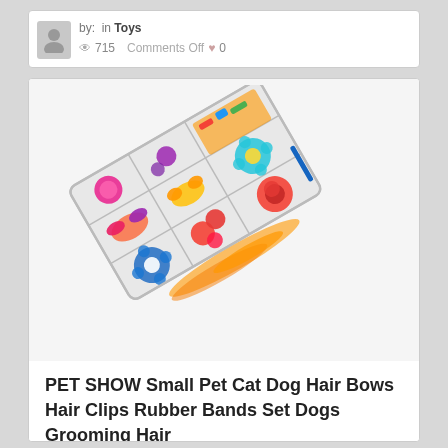by: in Toys  715  Comments Off  0
[Figure (photo): A clear plastic compartmentalized organizer box containing colorful pet hair accessories including bows, clips, flowers, rubber bands in various colors arranged in multiple sections.]
PET SHOW Small Pet Cat Dog Hair Bows Hair Clips Rubber Bands Set Dogs Grooming Hair